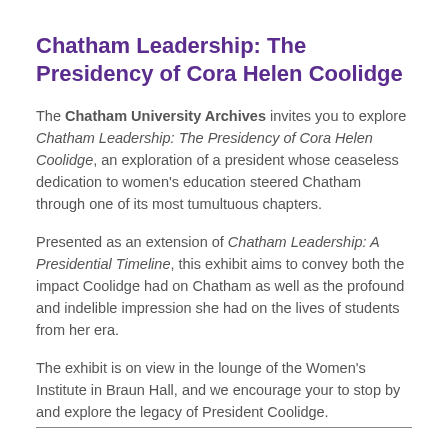Chatham Leadership: The Presidency of Cora Helen Coolidge
The Chatham University Archives invites you to explore Chatham Leadership: The Presidency of Cora Helen Coolidge, an exploration of a president whose ceaseless dedication to women's education steered Chatham through one of its most tumultuous chapters.
Presented as an extension of Chatham Leadership: A Presidential Timeline, this exhibit aims to convey both the impact Coolidge had on Chatham as well as the profound and indelible impression she had on the lives of students from her era.
The exhibit is on view in the lounge of the Women's Institute in Braun Hall, and we encourage your to stop by and explore the legacy of President Coolidge.